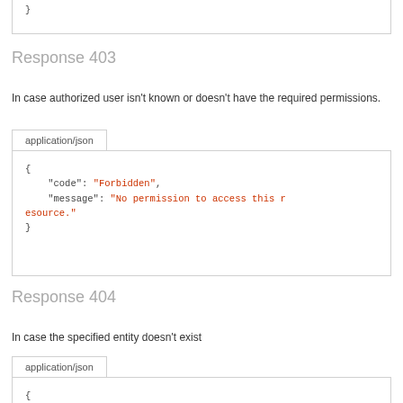}
Response 403
In case authorized user isn't known or doesn't have the required permissions.
application/json
{
    "code": "Forbidden",
    "message": "No permission to access this resource."
}
Response 404
In case the specified entity doesn't exist
application/json
{